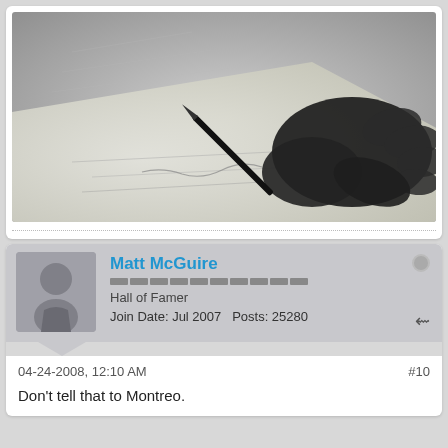[Figure (photo): Black and white close-up photo of a hand holding a pen, writing on a piece of paper]
Matt McGuire
Hall of Famer
Join Date: Jul 2007   Posts: 25280
04-24-2008, 12:10 AM
#10
Don't tell that to Montreo.